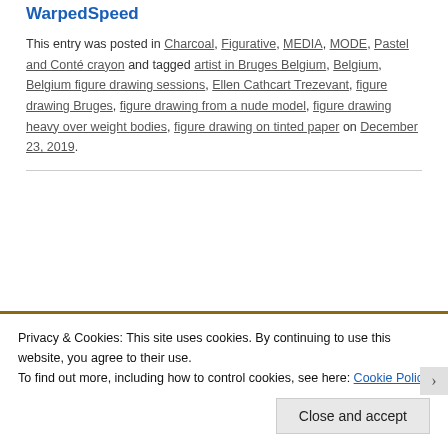WarpedSpeed
This entry was posted in Charcoal, Figurative, MEDIA, MODE, Pastel and Conté crayon and tagged artist in Bruges Belgium, Belgium, Belgium figure drawing sessions, Ellen Cathcart Trezevant, figure drawing Bruges, figure drawing from a nude model, figure drawing heavy over weight bodies, figure drawing on tinted paper on December 23, 2019.
Privacy & Cookies: This site uses cookies. By continuing to use this website, you agree to their use.
To find out more, including how to control cookies, see here: Cookie Policy